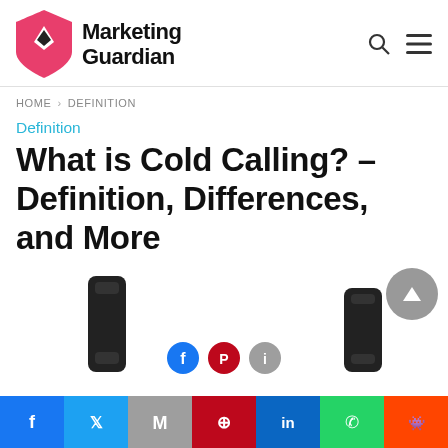Marketing Guardian
HOME > DEFINITION
Definition
What is Cold Calling? – Definition, Differences, and More
[Figure (photo): Partial view of a phone/cold calling image with two black telephone handsets visible from below, and partial social share icons. A gray scroll-to-top button appears in the upper right.]
Facebook | Twitter | Mail | Pinterest | LinkedIn | WhatsApp | Reddit